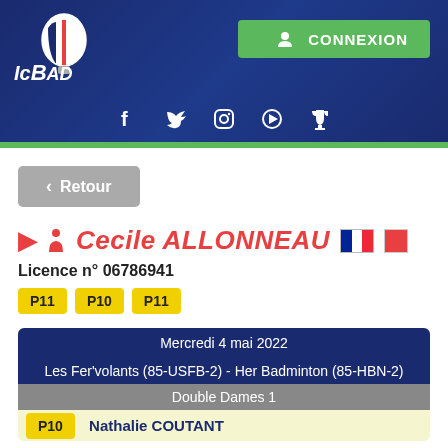[Figure (logo): IcBad badminton platform logo with hot air balloon design in blue, white and red]
CONNEXION
[Figure (infographic): Social media icons: Facebook, Twitter, Instagram, Play, Trophy]
< Retour
Cecile ALLONNEAU
Licence n° 06786941
P11  P10  P11
| Mercredi 4 mai 2022 |
| Les Fer'volants (85-USFB-2) - Her Badminton (85-HBN-2) |
| Double Dames 1 |
| P10  Nathalie COUTANT |